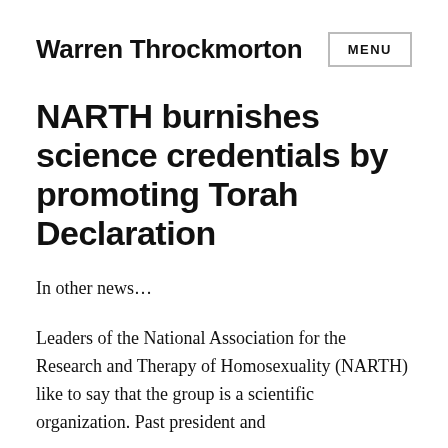Warren Throckmorton
NARTH burnishes science credentials by promoting Torah Declaration
In other news...
Leaders of the National Association for the Research and Therapy of Homosexuality (NARTH) like to say that the group is a scientific organization. Past president and